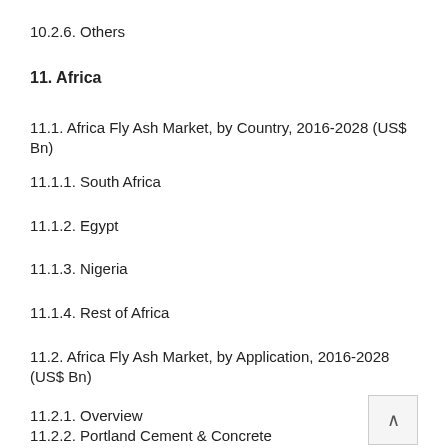10.2.6. Others
11. Africa
11.1. Africa Fly Ash Market, by Country, 2016-2028 (US$ Bn)
11.1.1. South Africa
11.1.2. Egypt
11.1.3. Nigeria
11.1.4. Rest of Africa
11.2. Africa Fly Ash Market, by Application, 2016-2028 (US$ Bn)
11.2.1. Overview
11.2.2. Portland Cement & Concrete